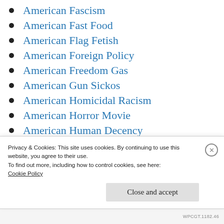American Fascism
American Fast Food
American Flag Fetish
American Foreign Policy
American Freedom Gas
American Gun Sickos
American Homicidal Racism
American Horror Movie
American Human Decency
American Hypocrisy Reigns
American Individualism
Privacy & Cookies: This site uses cookies. By continuing to use this website, you agree to their use.
To find out more, including how to control cookies, see here: Cookie Policy
Close and accept
WPCGT.1182.46